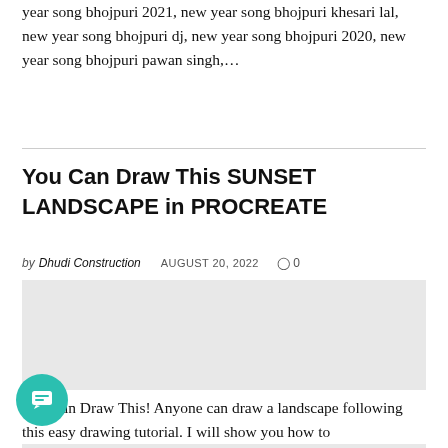year song bhojpuri 2021, new year song bhojpuri khesari lal, new year song bhojpuri dj, new year song bhojpuri 2020, new year song bhojpuri pawan singh,...
You Can Draw This SUNSET LANDSCAPE in PROCREATE
by Dhudi Construction   AUGUST 20, 2022   ○ 0
[Figure (photo): Light gray placeholder rectangle representing the article featured image area]
You Can Draw This! Anyone can draw a landscape following this easy drawing tutorial. I will show you how to